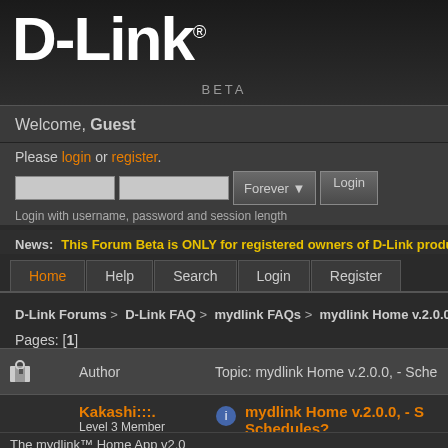[Figure (logo): D-Link logo with BETA label on dark background]
Welcome, Guest
Please login or register.
Login with username, password and session length
News: This Forum Beta is ONLY for registered owners of D-Link products in th
Home | Help | Search | Login | Register
D-Link Forums > D-Link FAQ > mydlink FAQs > mydlink Home v.2.0.0, - Sched
Pages: [1]
|  | Author | Topic: mydlink Home v.2.0.0, - Sche |
| --- | --- | --- |
|  | Kakashi:::.
Level 3 Member
Posts: 270 | mydlink Home v.2.0.0, - S Schedules?
« on: October 31, 2014, 10:40: |
The mydlink™ Home App v2.0